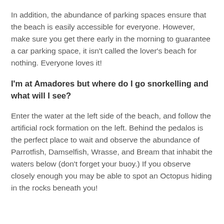In addition, the abundance of parking spaces ensure that the beach is easily accessible for everyone. However, make sure you get there early in the morning to guarantee a car parking space, it isn't called the lover's beach for nothing. Everyone loves it!
I'm at Amadores but where do I go snorkelling and what will I see?
Enter the water at the left side of the beach, and follow the artificial rock formation on the left. Behind the pedalos is the perfect place to wait and observe the abundance of Parrotfish, Damselfish, Wrasse, and Bream that inhabit the waters below (don't forget your buoy.) If you observe closely enough you may be able to spot an Octopus hiding in the rocks beneath you!